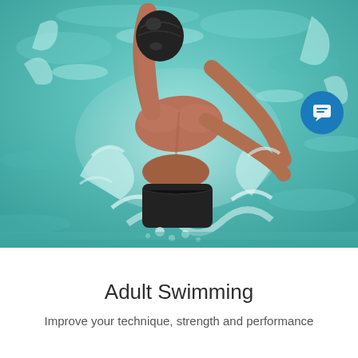[Figure (photo): Overhead/back view of a male swimmer in a black swim cap doing butterfly or freestyle stroke in a pool, arms raised, water splashing around him, turquoise/teal pool water background]
Adult Swimming
Improve your technique, strength and performance